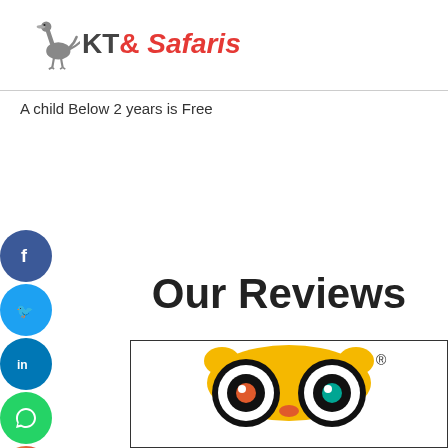[Figure (logo): KT & Safaris logo with ostrich bird illustration and text 'KT & Safaris']
A child Below 2 years is Free
[Figure (illustration): Column of social media icon circles: Facebook (blue), Twitter (light blue), LinkedIn (dark blue), WhatsApp (green), Instagram (gradient), YouTube/green]
Our Reviews
[Figure (logo): TripAdvisor owl logo with yellow head, black eye rings, orange and teal pupils, with registered trademark symbol]